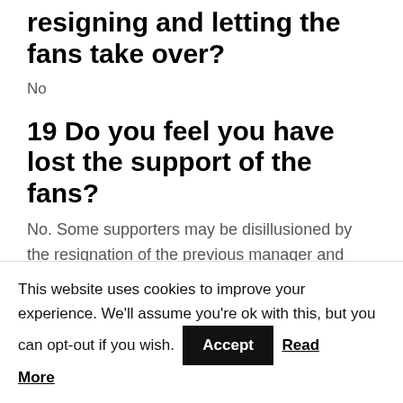resigning and letting the fans take over?
No
19 Do you feel you have lost the support of the fans?
No. Some supporters may be disillusioned by the resignation of the previous manager and some players leaving to join the local rivals, but I am more determined than ever by these setbacks to make Prestatyn Town Football Club a force in the WPL.
This website uses cookies to improve your experience. We'll assume you're ok with this, but you can opt-out if you wish.  Accept  Read More